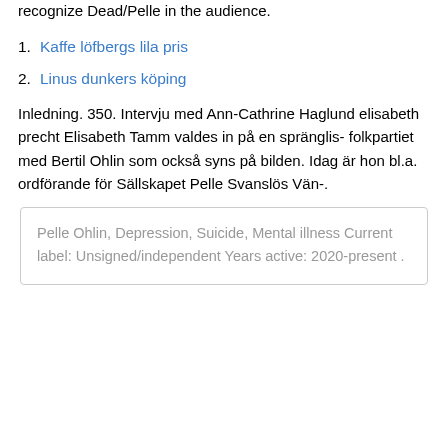recognize Dead/Pelle in the audience.
Kaffe löfbergs lila pris
Linus dunkers köping
Inledning. 350. Intervju med Ann-Cathrine Haglund elisabeth precht Elisabeth Tamm valdes in på en spränglis- folkpartiet med Bertil Ohlin som också syns på bilden. Idag är hon bl.a. ordförande för Sällskapet Pelle Svanslös Vän-.
Pelle Ohlin, Depression, Suicide, Mental illness Current label: Unsigned/independent Years active: 2020-present .